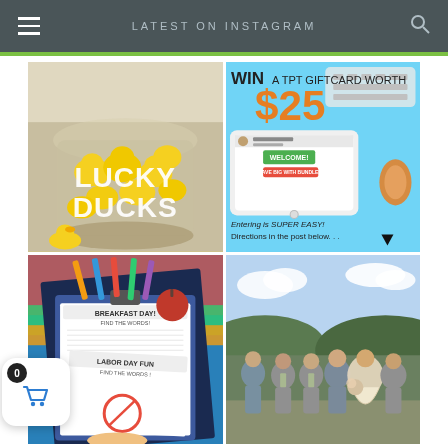LATEST ON INSTAGRAM
[Figure (photo): Glass jar filled with yellow rubber ducks with text 'LUCKY DUCKS' written on the glass, with one duck outside the jar on a light blue surface]
[Figure (infographic): Blue background promotional image: 'WIN A TPT GIFTCARD WORTH $25' with an iPad showing a TPT store page for Shelly Rees, orange glasses, and text 'Entering is SUPER EASY! Directions in the post below...' with a black arrow]
[Figure (photo): School supplies clipboard with worksheets: 'BREAKFAST DAY! FIND THE WORDS!' and 'LABOR DAY FUN FIND THE WORDS!' word search sheets, pencils, apple, colorful folders]
[Figure (photo): Wedding party group photo outdoors in front of green hills and blue sky with clouds, showing groomsmen in grey suits and bride in a light dress]